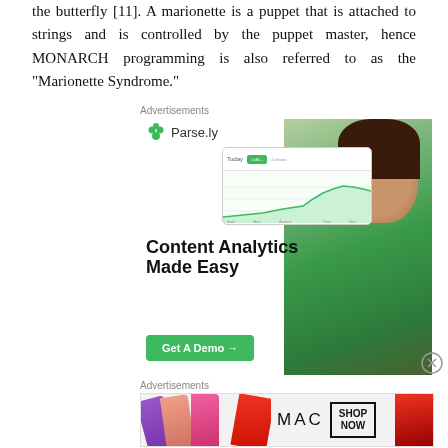the butterfly [11]. A marionette is a puppet that is attached to strings and is controlled by the puppet master, hence MONARCH programming is also referred to as the “Marionette Syndrome.”
Advertisements
[Figure (illustration): Parse.ly advertisement showing logo, analytics screenshot, 'Content Analytics Made Easy' headline, 'Get A Demo →' green button, and a photo of a woman in a green top]
Advertisements
[Figure (illustration): MAC cosmetics advertisement showing colorful lipsticks, MAC logo, and 'SHOP NOW' call to action box]